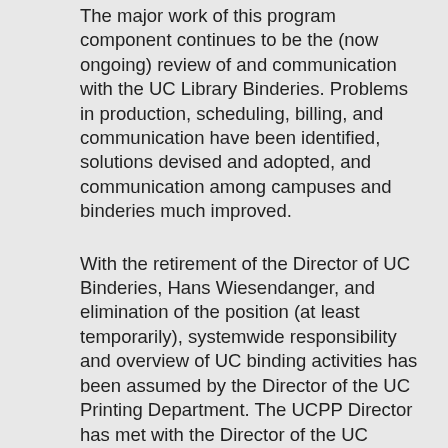The major work of this program component continues to be the (now ongoing) review of and communication with the UC Library Binderies. Problems in production, scheduling, billing, and communication have been identified, solutions devised and adopted, and communication among campuses and binderies much improved.
With the retirement of the Director of UC Binderies, Hans Wiesendanger, and elimination of the position (at least temporarily), systemwide responsibility and overview of UC binding activities has been assumed by the Director of the UC Printing Department. The UCPP Director has met with the Director of the UC Printing Department